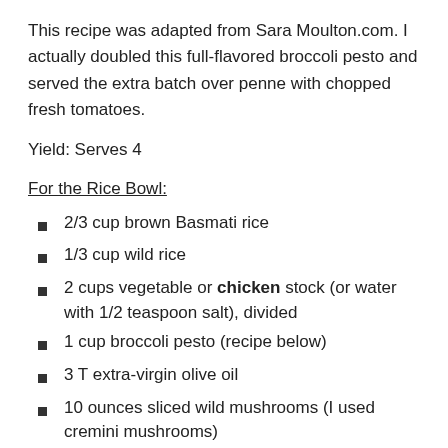This recipe was adapted from Sara Moulton.com. I actually doubled this full-flavored broccoli pesto and served the extra batch over penne with chopped fresh tomatoes.
Yield: Serves 4
For the Rice Bowl:
2/3 cup brown Basmati rice
1/3 cup wild rice
2 cups vegetable or chicken stock (or water with 1/2 teaspoon salt), divided
1 cup broccoli pesto (recipe below)
3 T extra-virgin olive oil
10 ounces sliced wild mushrooms (I used cremini mushrooms)